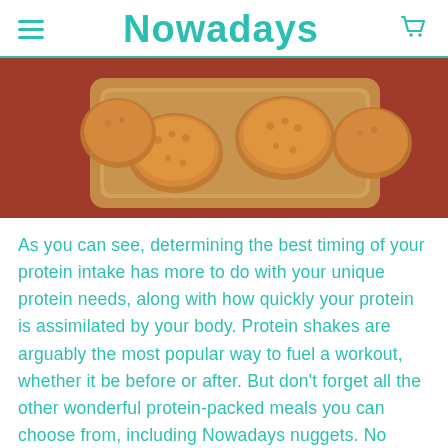Nowadays
[Figure (photo): Breaded nuggets on a wooden tray against a reddish-brown background]
As you can see, determining the best timing of your protein intake has more to do with your unique protein needs, along with how quickly your protein is assimilated by your body. Protein shakes are arguably the most popular way to fuel a workout, whether it be before or after. But don't forget all the other wonderful protein-packed meals you can choose from, including Nowadays nuggets. No matter how you choose to fuel your body, enjoy and be well. May all of